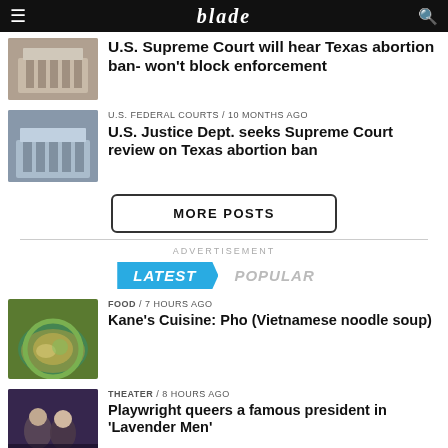blade
U.S. Supreme Court will hear Texas abortion ban- won't block enforcement
U.S. FEDERAL COURTS / 10 months ago
U.S. Justice Dept. seeks Supreme Court review on Texas abortion ban
MORE POSTS
ADVERTISEMENT
LATEST   POPULAR
FOOD / 7 hours ago
Kane's Cuisine: Pho (Vietnamese noodle soup)
THEATER / 8 hours ago
Playwright queers a famous president in 'Lavender Men'